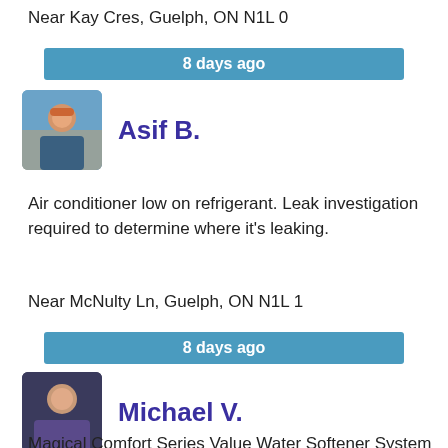Near Kay Cres, Guelph, ON N1L 0
8 days ago
Asif B.
Air conditioner low on refrigerant. Leak investigation required to determine where it's leaking.
Near McNulty Ln, Guelph, ON N1L 1
8 days ago
Michael V.
Magical Comfort Series Value Water Softener System (45,000 grains) Installation E transfer email: admin@aide.ca